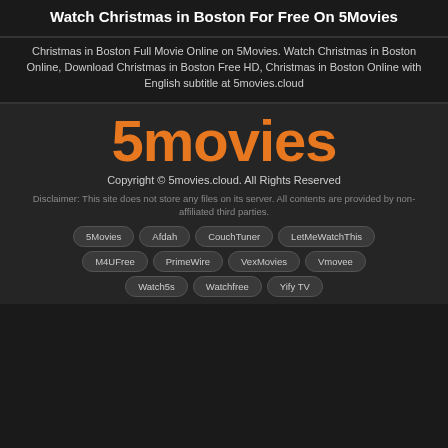Watch Christmas in Boston For Free On 5Movies
Christmas in Boston Full Movie Online on 5Movies. Watch Christmas in Boston Online, Download Christmas in Boston Free HD, Christmas in Boston Online with English subtitle at 5movies.cloud
[Figure (logo): 5movies logo in orange bold text]
Copyright © 5movies.cloud. All Rights Reserved
Disclaimer: This site does not store any files on its server. All contents are provided by non-affiliated third parties.
5Movies
Afdah
CouchTuner
LetMeWatchThis
M4UFree
PrimeWire
VexMovies
Vmovee
Watch5s
Watchfree
Yify TV